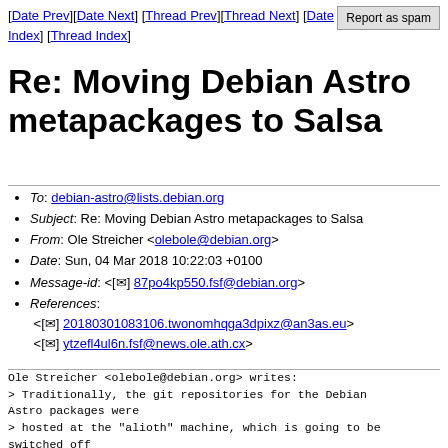[Date Prev][Date Next] [Thread Prev][Thread Next] [Date Index] [Thread Index]
Re: Moving Debian Astro metapackages to Salsa
To: debian-astro@lists.debian.org
Subject: Re: Moving Debian Astro metapackages to Salsa
From: Ole Streicher <olebole@debian.org>
Date: Sun, 04 Mar 2018 10:22:03 +0100
Message-id: <[✉] 87po4kp550.fsf@debian.org>
References: <[✉] 20180301083106.twonomhqga3dpixz@an3as.eu> <[✉] ytzefl4ul6n.fsf@news.ole.ath.cx>
Ole Streicher <olebole@debian.org> writes:
> Traditionally, the git repositories for the Debian
Astro packages were
> hosted at the "alioth" machine, which is going to be
switched off
> soon. The new system